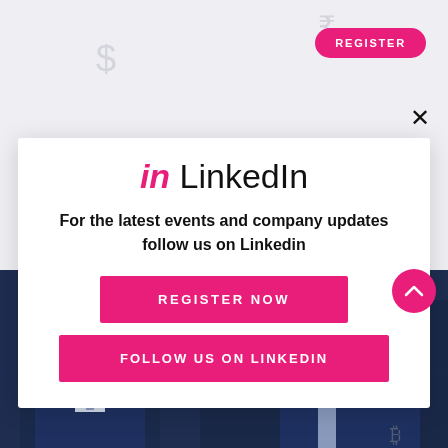[Figure (screenshot): LinkedIn follow popup modal with Register button, currency symbols decorating background, and photo of businessmen at bottom]
REGISTER
×
in LinkedIn
For the latest events and company updates follow us on Linkedin
REGISTER NOW
FOLLOW US ON LINKEDIN